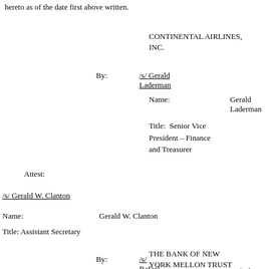hereto as of the date first above written.
CONTINENTAL AIRLINES, INC.
By:   /s/ Gerald Laderman
Name:   Gerald Laderman
Title:  Senior Vice President – Finance and Treasurer
Attest:
/s/ Gerald W. Clanton
Name:   Gerald W. Clanton
Title: Assistant Secretary
THE BANK OF NEW YORK MELLON TRUST COMPANY, N.A.
By:   /s/ Rafael Martinez
Name:   Rafael Martinez